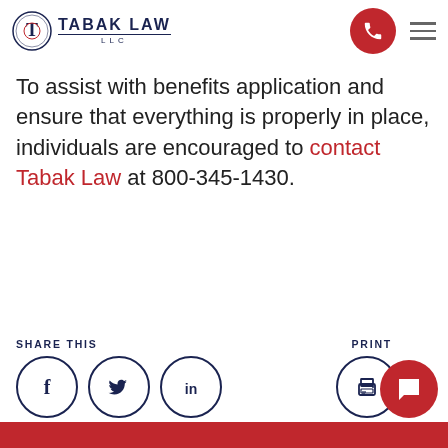Tabak Law LLC
To assist with benefits application and ensure that everything is properly in place, individuals are encouraged to contact Tabak Law at 800-345-1430.
SHARE THIS
[Figure (illustration): Social share icons: Facebook, Twitter, LinkedIn circles and a Print circle]